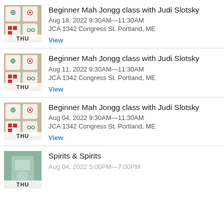Beginner Mah Jongg class with Judi Slotsky
Aug 18, 2022 9:30AM—11:30AM
JCA 1342 Congress St. Portland, ME
View
Beginner Mah Jongg class with Judi Slotsky
Aug 11, 2022 9:30AM—11:30AM
JCA 1342 Congress St. Portland, ME
View
Beginner Mah Jongg class with Judi Slotsky
Aug 04, 2022 9:30AM—11:30AM
JCA 1342 Congress St. Portland, ME
View
Spirits & Spirits
Aug 04, 2022 5:00PM—7:00PM